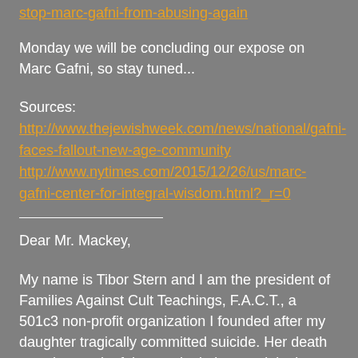stop-marc-gafni-from-abusing-again
Monday we will be concluding our expose on Marc Gafni, so stay tuned...
Sources:
http://www.thejewishweek.com/news/national/gafni-faces-fallout-new-age-community
http://www.nytimes.com/2015/12/26/us/marc-gafni-center-for-integral-wisdom.html?_r=0
Dear Mr. Mackey,
My name is Tibor Stern and I am the president of Families Against Cult Teachings, F.A.C.T., a 501c3 non-profit organization I founded after my daughter tragically committed suicide. Her death was the result of the manipulation, exploitation and abuse brought upon her by a corrupt teacher / guru. Since then I have made it my life's mission to stop predators like this from victimizing followers